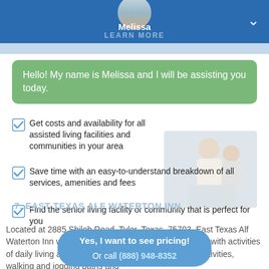Melissa / LEARN MORE
Hello! My name is Melissa and I will be assisting you today.
Get costs and availability for all assisted living facilities and communities in your area
Save time with an easy-to-understand breakdown of all services, amenities and fees
Find the senior living facility or community that is perfect for you
[Figure (photo): Photo of caregiver assisting elderly person in background]
7. EAST TEXAS ALF WATERTON INN
Located at 2885 Shiloh Road, Tyler, Texas, 75703, East Texas Alf Waterton Inn will help any Smith county senior citizens with activities of daily living and includes amenities such as social activities, walking and jogging paths and
Yes, I want to see pricing!
Or call (888) 948-8352